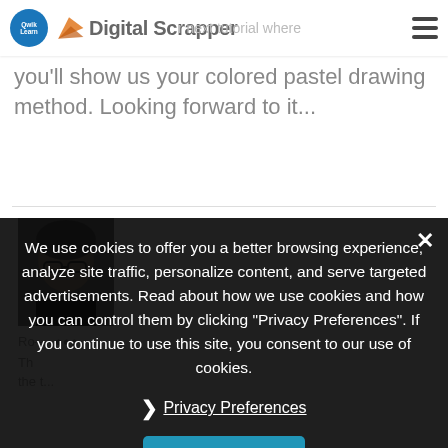Digital Scrapper
r next tutorial where you'll show us your colored pastel drawing method. Looking forward to it...
[Figure (photo): Profile photo of a woman with short blond hair and glasses]
We use cookies to offer you a better browsing experience, analyze site traffic, personalize content, and serve targeted advertisements. Read about how we use cookies and how you can control them by clicking "Privacy Preferences". If you continue to use this site, you consent to our use of cookies.
Privacy Preferences
I Agree